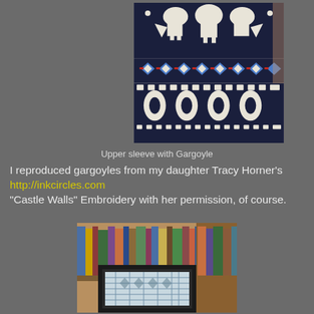[Figure (photo): Close-up photograph of a knitted sleeve showing a fair isle pattern with navy blue, white, blue and red colors. The pattern features a gargoyle motif at the top, geometric diamond shapes in blue and white in the middle with red accent stitches, and intricate navy/white patterns below.]
Upper sleeve with Gargoyle
I reproduced gargoyles from my daughter Tracy Horner's http://inkcircles.com "Castle Walls" Embroidery with her permission, of course.
[Figure (photo): Photograph of a framed needlework piece displayed on a bookshelf. The frame is dark/black and the needlework shows a geometric pattern. Books are visible on the shelf behind.]